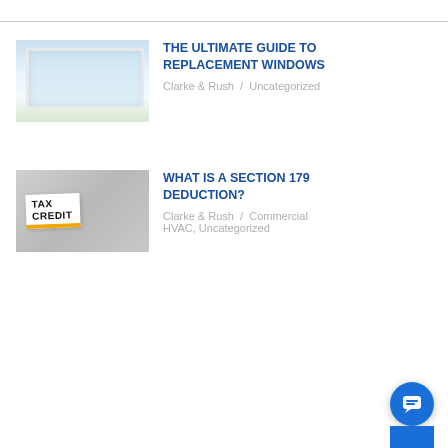[Figure (photo): Photo of large white windows in a bright kitchen/living area overlooking a beach scene]
THE ULTIMATE GUIDE TO REPLACEMENT WINDOWS
Clarke & Rush  /  Uncategorized
[Figure (photo): Photo of a hand-written 'TAX CREDIT' label card resting on a calculator with money in the background]
WHAT IS A SECTION 179 DEDUCTION?
Clarke & Rush  /  Commercial HVAC, Uncategorized